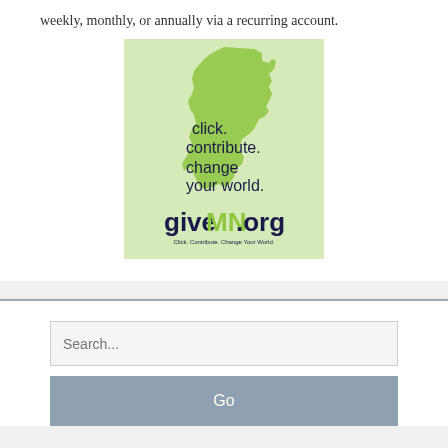weekly, monthly, or annually via a recurring account.
[Figure (logo): giveMN.org logo with Minnesota state shape silhouette in green with text 'click. contribute. change your world.' and giveMN.org branding below]
Search...
Go